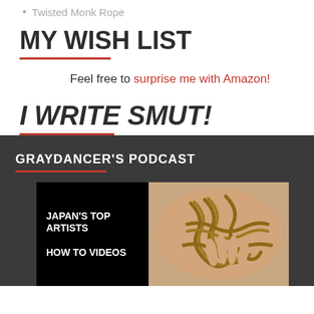Twisted Monk Rope
MY WISH LIST
Feel free to surprise me with Amazon!
I WRITE SMUT!
GRAYDANCER'S PODCAST
[Figure (photo): Podcast thumbnail showing text overlays 'JAPAN'S TOP ARTISTS' and 'HOW TO VIDEOS' on black background, alongside a photo of rope bondage on skin]